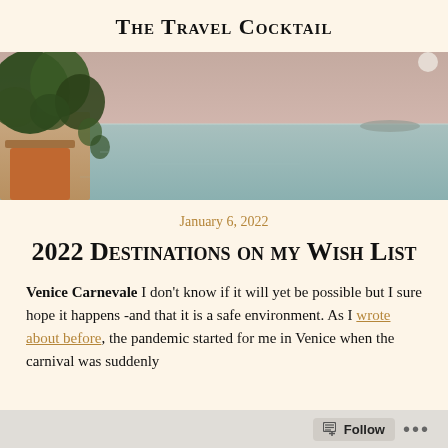The Travel Cocktail
[Figure (photo): Outdoor coastal scene with potted plants/foliage in upper left corner and hazy ocean/sea view in the background under a pinkish-grey sky]
January 6, 2022
2022 Destinations on my Wish List
Venice Carnevale I don't know if it will yet be possible but I sure hope it happens -and that it is a safe environment. As I wrote about before, the pandemic started for me in Venice when the carnival was suddenly